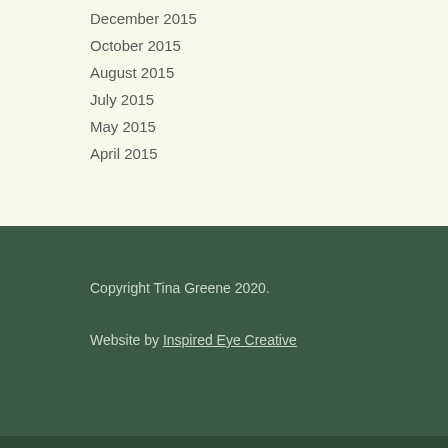December 2015
October 2015
August 2015
July 2015
May 2015
April 2015
Copyright Tina Greene 2020.
Website by Inspired Eye Creative